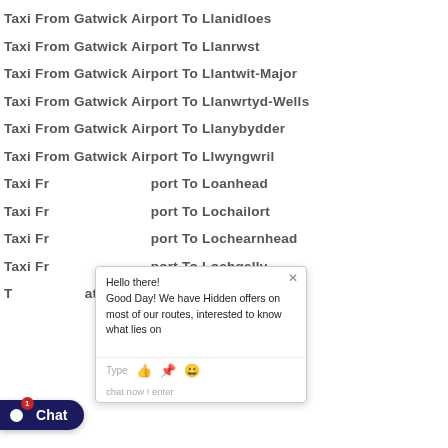Taxi From Gatwick Airport To Llanidloes
Taxi From Gatwick Airport To Llanrwst
Taxi From Gatwick Airport To Llantwit-Major
Taxi From Gatwick Airport To Llanwrtyd-Wells
Taxi From Gatwick Airport To Llanybydder
Taxi From Gatwick Airport To Llwyngwril
Taxi From Gatwick Airport To Loanhead
Taxi From Gatwick Airport To Lochailort
Taxi From Gatwick Airport To Lochearnhead
Taxi From Gatwick Airport To Lochgelly
Taxi From Gatwick Airport To Lochgilphead